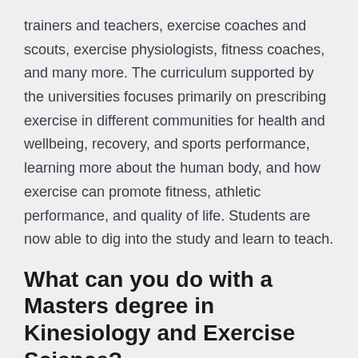trainers and teachers, exercise coaches and scouts, exercise physiologists, fitness coaches, and many more. The curriculum supported by the universities focuses primarily on prescribing exercise in different communities for health and wellbeing, recovery, and sports performance, learning more about the human body, and how exercise can promote fitness, athletic performance, and quality of life. Students are now able to dig into the study and learn to teach.
What can you do with a Masters degree in Kinesiology and Exercise Science?
Kinesiology and Exercise Science is a very big field where students can find jobs in any profession related to health science. Graduates with Masters degrees in Kinesiology and Exercise Science can be found working in departments of physical education, health promotion and